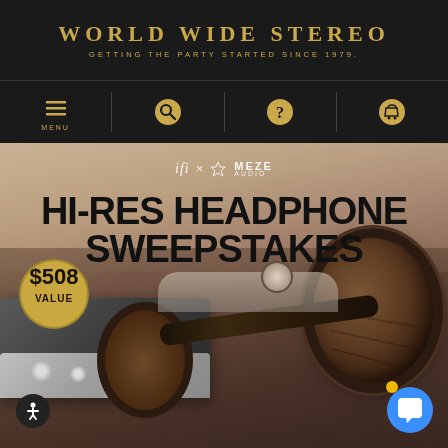WORLD WIDE STEREO — GETTING THE PARTY STARTED SINCE 1979.
[Figure (infographic): Website screenshot of World Wide Stereo showing navigation bar with menu, search, help, and cart icons, followed by a sweepstakes promotional banner featuring ifi x Meze Audio logos, text 'HI-RES HEADPHONE SWEEPSTAKES', a $508 VALUE badge, and product photo of Meze headphones and iFi audio device on a table.]
HI-RES HEADPHONE SWEEPSTAKES
ifi × MEZE AUDIO
$508 VALUE